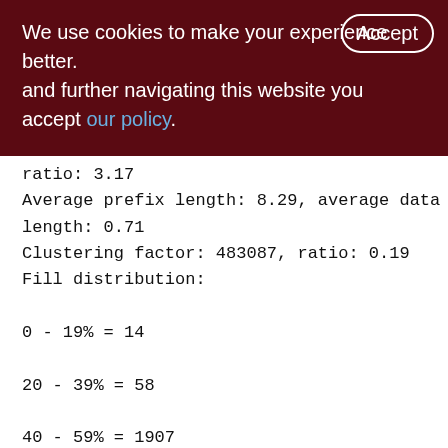We use cookies to make your experience better. By accepting and further navigating this website you accept our policy.
ratio: 3.17
Average prefix length: 8.29, average data length: 0.71
Clustering factor: 483087, ratio: 0.19
Fill distribution:
0 - 19% = 14
20 - 39% = 58
40 - 59% = 1907
60 - 79% = 801
80 - 99% = 328

XQS_1200_2000 (267)
Primary pointer page: 759, Index root page: